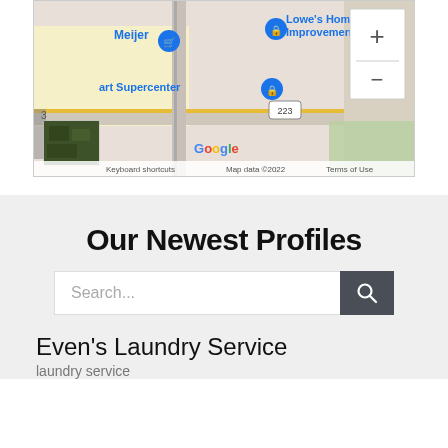[Figure (map): Google Maps showing area with Meijer, Lowe's Home Improvement, Walmart Supercenter, road 223, zoom controls (+/-), satellite thumbnail, keyboard shortcuts, Map data ©2022, Terms of Use labels]
Our Newest Profiles
Search...
Even's Laundry Service